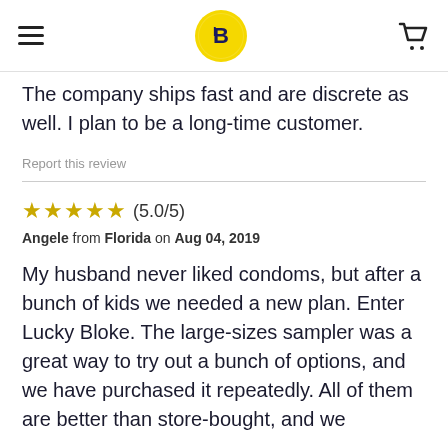Lucky Bloke — navigation header with logo
has many different sizes and brands that I normally wouldn't know about. The company ships fast and are discrete as well. I plan to be a long-time customer.
Report this review
★★★★★ (5.0/5)
Angele from Florida on Aug 04, 2019
My husband never liked condoms, but after a bunch of kids we needed a new plan. Enter Lucky Bloke. The large-sizes sampler was a great way to try out a bunch of options, and we have purchased it repeatedly. All of them are better than store-bought, and we